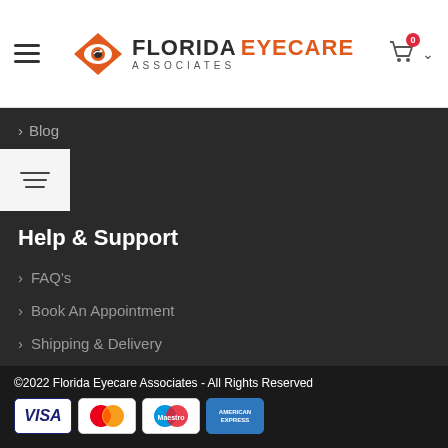Florida Eyecare Associates
Blog
Help & Support
FAQ's
Book An Appointment
Shipping & Delivery
Terms & Conditions
Privacy Policy
©2022 Florida Eyecare Associates - All Rights Reserved